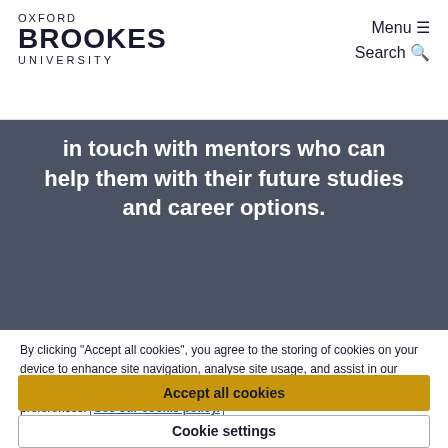OXFORD BROOKES UNIVERSITY | Menu | Search
in touch with mentors who can help them with their future studies and career options.
By clicking "Accept all cookies", you agree to the storing of cookies on your device to enhance site navigation, analyse site usage, and assist in our marketing efforts. Please go to "Cookie settings" to change your preferences. See our cookie policy.
Accept all cookies
Cookie settings